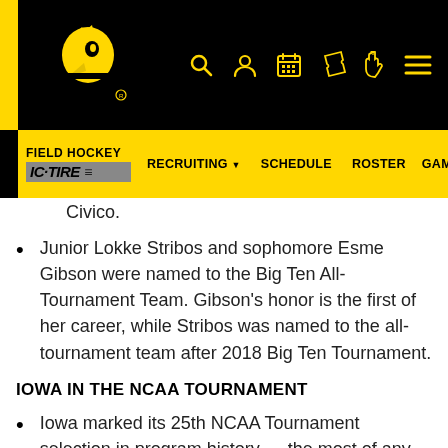[Figure (logo): University of Iowa Athletics website header with black background, yellow Hawkeye logo on left, navigation icons (search, user, calendar, ticket, foam finger, hamburger menu) in yellow on right]
FIELD HOCKEY | IC-TIRE | RECRUITING ▼ | SCHEDULE | ROSTER | GAME
Civico.
Junior Lokke Stribos and sophomore Esme Gibson were named to the Big Ten All-Tournament Team. Gibson's honor is the first of her career, while Stribos was named to the all-tournament team after 2018 Big Ten Tournament.
IOWA IN THE NCAA TOURNAMENT
Iowa marked its 25th NCAA Tournament selection in program history — the most of any